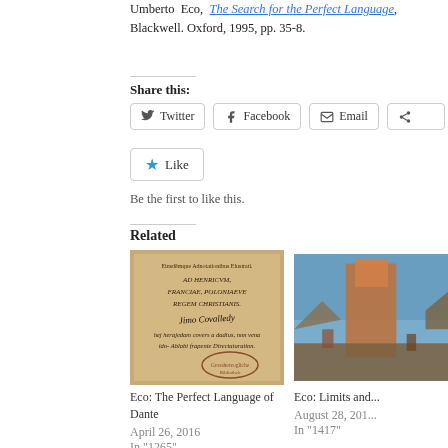Umberto Eco, The Search for the Perfect Language, Blackwell. Oxford, 1995, pp. 35-8.
Share this:
Twitter  Facebook  Email
Like
Be the first to like this.
Related
[Figure (photo): Old handwritten manuscript page with Latin inscription dedicated AD HENRICVM, FRANCIAE, POLONIAEVE, REGEM CHRISTIANIS, with signatures and a Grossherzogliche library stamp]
Eco: The Perfect Language of Dante
April 26, 2016
In "1265"
[Figure (photo): Colorful illustration showing a tall tower-like structure with figures, partial view]
Eco: Limits and...
August 28, 201...
In "1417"